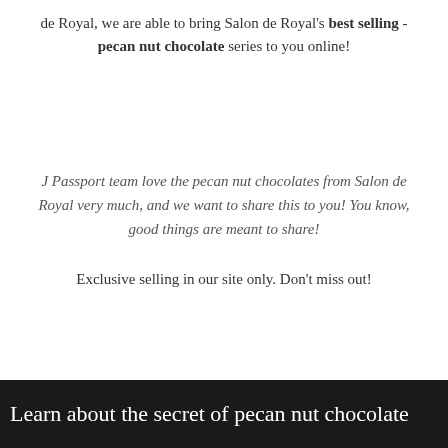de Royal, we are able to bring Salon de Royal's best selling - pecan nut chocolate series to you online!
J Passport team love the pecan nut chocolates from Salon de Royal very much, and we want to share this to you! You know, good things are meant to share!
Exclusive selling in our site only. Don't miss out!
Learn about the secret of pecan nut chocolate